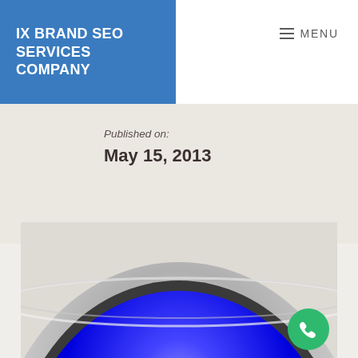IX BRAND SEO SERVICES COMPANY
≡ MENU
Published on:
May 15, 2013
[Figure (illustration): A large blue glossy button with metallic silver/chrome rim, partially visible — top arc shows the chrome border and blue glossy surface with a highlight. A green phone call button is overlaid in the bottom right corner.]